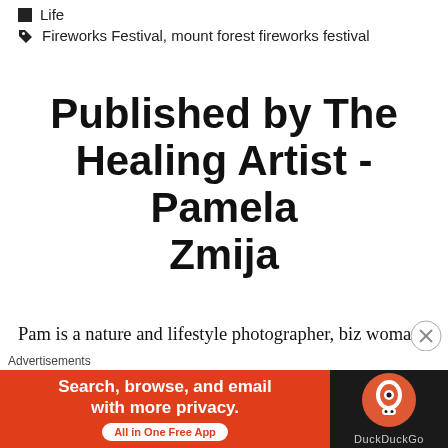Life
Fireworks Festival, mount forest fireworks festival
Published by The Healing Artist - Pamela Zmija
Pam is a nature and lifestyle photographer, biz woman, number cruncher, oil lover, healer and most important, a mom and wife. She is passionate about inspiring and empowering mom's and their families to be...
[Figure (other): DuckDuckGo advertisement banner: orange background with text 'Search, browse, and email with more privacy. All in One Free App' and DuckDuckGo logo on dark right panel]
Advertisements